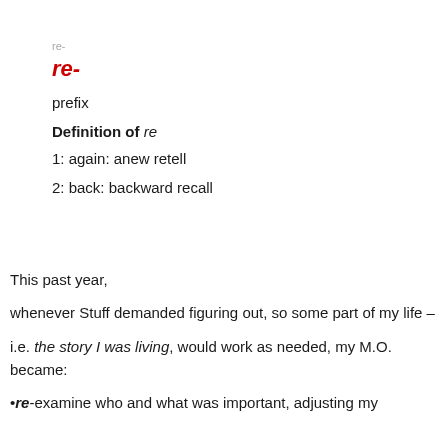re-
prefix
Definition of re
1: again: anew retell
2: back: backward recall
This past year,
whenever Stuff demanded figuring out, so some part of my life –
i.e. the story I was living, would work as needed, my M.O. became:
•re-examine who and what was important, adjusting my